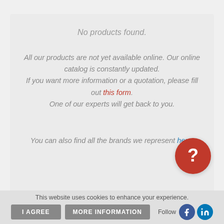No products found.
All our products are not yet available online. Our online catalog is constantly updated. If you want more information or a quotation, please fill out this form. One of our experts will get back to you.
You can also find all the brands we represent here.
[Figure (other): Red circular help/question mark button]
This website uses cookies to enhance your experience.
I AGREE   MORE INFORMATION   Follow